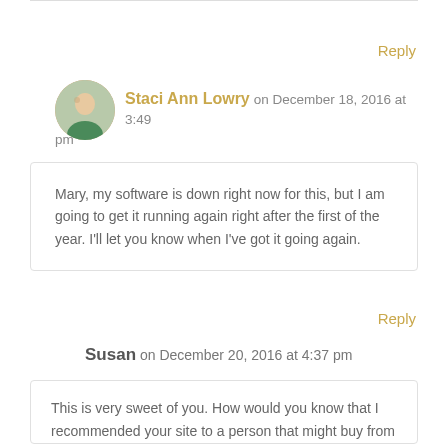Reply
Staci Ann Lowry on December 18, 2016 at 3:49 pm
Mary, my software is down right now for this, but I am going to get it running again right after the first of the year. I’ll let you know when I’ve got it going again.
Reply
Susan on December 20, 2016 at 4:37 pm
This is very sweet of you. How would you know that I recommended your site to a person that might buy from you?